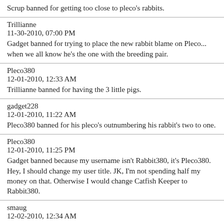Scrup banned for getting too close to pleco's rabbits.
Trillianne
11-30-2010, 07:00 PM
Gadget banned for trying to place the new rabbit blame on Pleco... when we all know he's the one with the breeding pair.
Pleco380
12-01-2010, 12:33 AM
Trillianne banned for having the 3 little pigs.
gadget228
12-01-2010, 11:22 AM
Pleco380 banned for his pleco's outnumbering his rabbit's two to one.
Pleco380
12-01-2010, 11:25 PM
Gadget banned because my username isn't Rabbit380, it's Pleco380. Hey, I should change my user title. JK, I'm not spending half my money on that. Otherwise I would change Catfish Keeper to Rabbit380.
smaug
12-02-2010, 12:34 AM